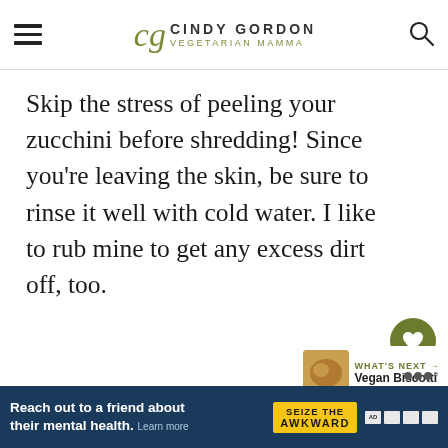cg CINDY GORDON VEGETARIAN MAMMA
Skip the stress of peeling your zucchini before shredding! Since you're leaving the skin, be sure to rinse it well with cold water. I like to rub mine to get any excess dirt off, too.
WHAT'S NEXT → Vegan Biscotti
2
Reach out to a friend about their mental health. Learn more  SEIZE THE AWKWARD